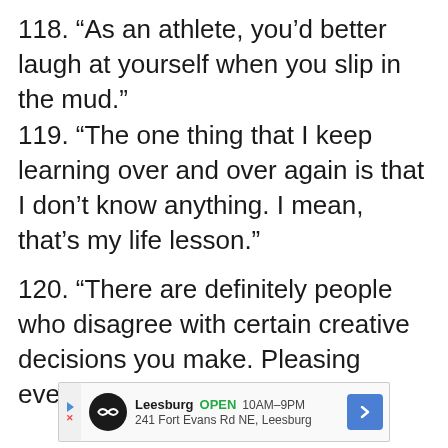118. “As an athlete, you’d better laugh at yourself when you slip in the mud.”
119. “The one thing that I keep learning over and over again is that I don’t know anything. I mean, that’s my life lesson.”
120. “There are definitely people who disagree with certain creative decisions you make. Pleasing everyone is pretty hard.”
[Figure (screenshot): Advertisement banner for Leesburg store showing logo, OPEN status, hours 10AM-9PM, address 241 Fort Evans Rd NE, Leesburg, and navigation arrow icon]